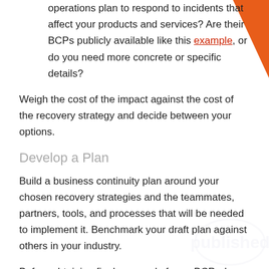operations plan to respond to incidents that affect your products and services?  Are their BCPs publicly available like this example, or do you need more concrete or specific details?
Weigh the cost of the impact against the cost of the recovery strategy and decide between your options.
Develop a Plan
Build a business continuity plan around your chosen recovery strategies and the teammates, partners, tools, and processes that will be needed to implement it. Benchmark your draft plan against others in your industry.
Before obtaining final approval of your BCP, share it with a diverse group of stakeholders to ensure perspectives you may have missed are addressed. The RTOs you established